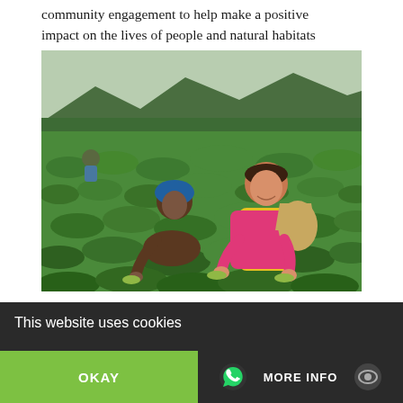community engagement to help make a positive impact on the lives of people and natural habitats where we visit.
[Figure (photo): Two women picking tea leaves in a lush green tea plantation in Bali. One woman wears a head covering and brown jacket; the other wears a bright pink jacket and yellow vest with a wicker basket on her back. Mountains and trees visible in background.]
Immersing in Bali. Photo credit: Global Family Travels
This website uses cookies
OKAY
MORE INFO